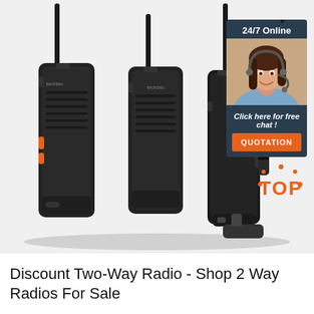[Figure (photo): Three black Baofeng two-way radios (walkie-talkies) shown from different angles - front view of two units with orange buttons and speaker grilles, and one showing the back/side. A customer service chat widget overlay in the top right shows '24/7 Online', a female agent with headset, 'Click here for free chat!' text, and an orange QUOTATION button. A red/orange TOP badge with dots is visible in the lower right. White background with light shadow.]
Discount Two-Way Radio - Shop 2 Way Radios For Sale